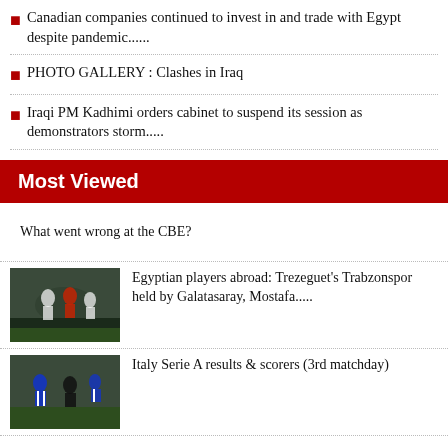Canadian companies continued to invest in and trade with Egypt despite pandemic......
PHOTO GALLERY : Clashes in Iraq
Iraqi PM Kadhimi orders cabinet to suspend its session as demonstrators storm.....
Most Viewed
What went wrong at the CBE?
[Figure (photo): Soccer players in action on a field, two teams competing]
Egyptian players abroad: Trezeguet's Trabzonspor held by Galatasaray, Mostafa.....
[Figure (photo): Soccer players in action, one team in blue and white stripes]
Italy Serie A results & scorers (3rd matchday)
Facing up to crises
[Figure (photo): Partial view of a crowd or sports event at bottom of page]